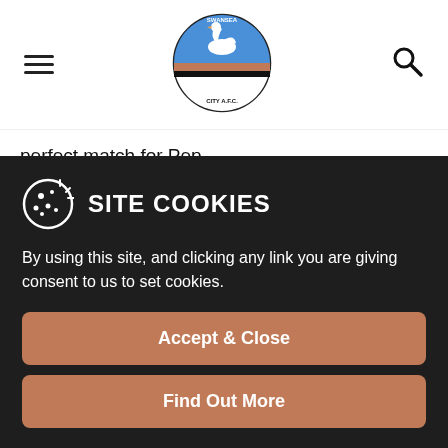[Figure (logo): Swansea City A.F.C. circular badge logo with swan and football]
perfect match for Pep.
"I was originally appointed as academy consultant because the club wanted someone young, who had a lot of experience in coaching and had the right ideas," he explains.
SITE COOKIES
By using this site, and clicking any link you are giving consent to us to set cookies.
Accept & Close
Find Out More